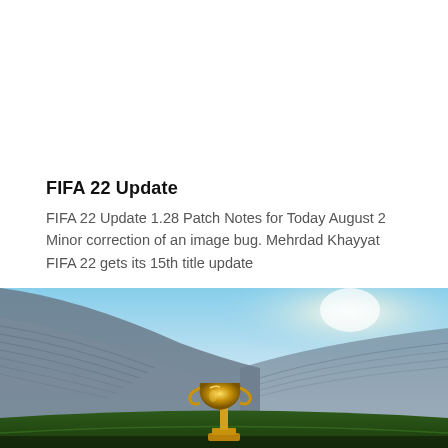FIFA 22 Update
FIFA 22 Update 1.28 Patch Notes for Today August 2 Minor correction of an image bug. Mehrdad Khayyat FIFA 22 gets its 15th title update
Read More »
[Figure (photo): A wide-angle view of a large football stadium with a bright sky, and a golden World Cup trophy visible at the bottom center of the image.]